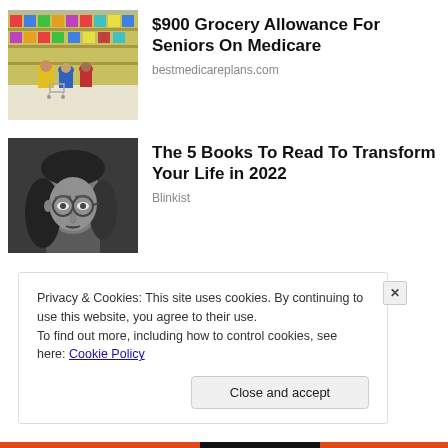[Figure (photo): Grocery store aisle with shoppers pushing carts, colorful store shelves visible]
$900 Grocery Allowance For Seniors On Medicare
bestmedicareplans.com
[Figure (photo): Black and white portrait of a young man with long hair and round glasses]
The 5 Books To Read To Transform Your Life in 2022
Blinkist
Privacy & Cookies: This site uses cookies. By continuing to use this website, you agree to their use.
To find out more, including how to control cookies, see here: Cookie Policy
Close and accept